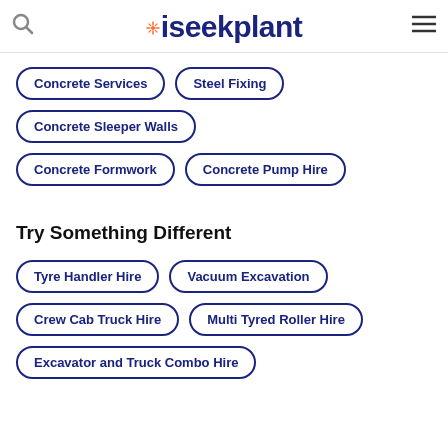iseekplant
Concrete Services
Steel Fixing
Concrete Sleeper Walls
Concrete Formwork
Concrete Pump Hire
Try Something Different
Tyre Handler Hire
Vacuum Excavation
Crew Cab Truck Hire
Multi Tyred Roller Hire
Excavator and Truck Combo Hire